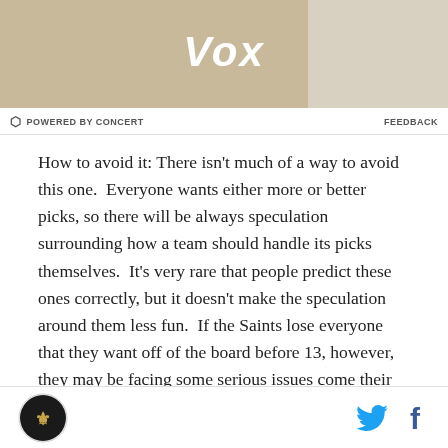[Figure (other): Vox advertisement banner with tan/beige background and plant image on right side]
POWERED BY CONCERT    FEEDBACK
How to avoid it: There isn't much of a way to avoid this one.  Everyone wants either more or better picks, so there will be always speculation surrounding how a team should handle its picks themselves.  It's very rare that people predict these ones correctly, but it doesn't make the speculation around them less fun.  If the Saints lose everyone that they want off of the board before 13, however, they may be facing some serious issues come their own pick.
The NFL Draft is a mystery.  Personally, I don't mind
Who Dat Digest logo | Twitter icon | Facebook icon